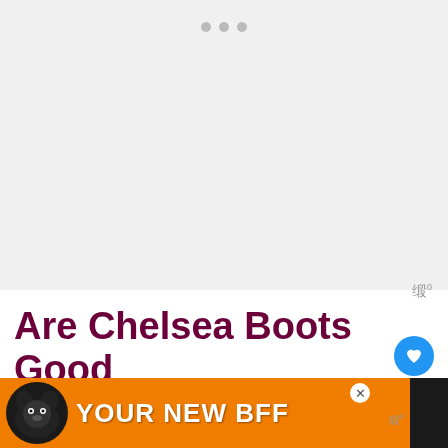[Figure (other): Gray placeholder area at top of page with three dots indicating a carousel or image area]
Are Chelsea Boots Good For Snow?
Whether or not you should brave the snow in your Chelsea boots depends on the particular pair. Although the silhouette of a Chelsea boot is distinct, there is actually quite a bit of variation between brands, styles, and materials — and that makes all
[Figure (other): Advertisement banner at bottom: orange background with dog image and text YOUR NEW BFF]
[Figure (other): WHAT'S NEXT panel showing Are Chelsea Boots... with thumbnail]